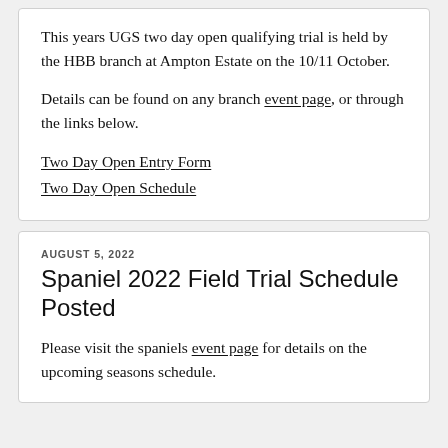This years UGS two day open qualifying trial is held by the HBB branch at Ampton Estate on the 10/11 October.
Details can be found on any branch event page, or through the links below.
Two Day Open Entry Form
Two Day Open Schedule
AUGUST 5, 2022
Spaniel 2022 Field Trial Schedule Posted
Please visit the spaniels event page for details on the upcoming seasons schedule.